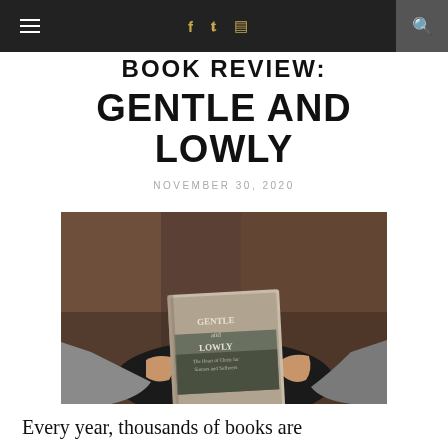BOOK REVIEW: GENTLE AND LOWLY
BOOK REVIEW:
GENTLE AND LOWLY
NOVEMBER 30, 2020
[Figure (photo): Person sitting and holding the book 'Gentle and Lowly' with both hands, shot from above at an angle. The book cover shows a landscape scene with the title text visible.]
Every year, thousands of books are